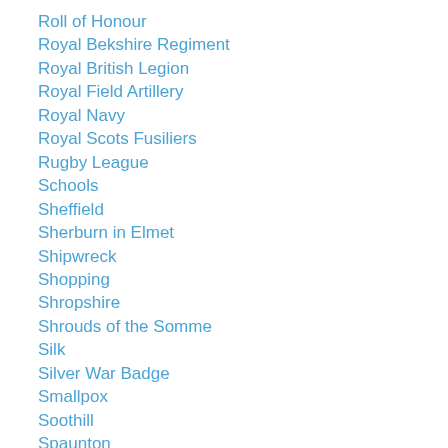Roll of Honour
Royal Bekshire Regiment
Royal British Legion
Royal Field Artillery
Royal Navy
Royal Scots Fusiliers
Rugby League
Schools
Sheffield
Sherburn in Elmet
Shipwreck
Shopping
Shropshire
Shrouds of the Somme
Silk
Silver War Badge
Smallpox
Soothill
Spaunton
Spen Valley